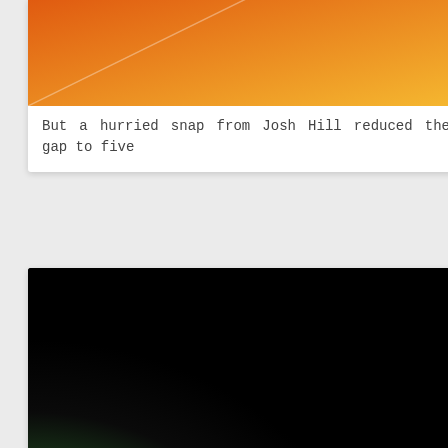[Figure (illustration): Gradient image with orange and yellow tones, top of card cropped]
But a hurried snap from Josh Hill reduced the gap to five
[Figure (illustration): Gradient image with dark background, orange/yellow at bottom-left, dark green/teal at bottom-right]
In 2011, it is expected the championships will move to the
[Figure (photo): Dark grayscale photo, partially visible at bottom of page]